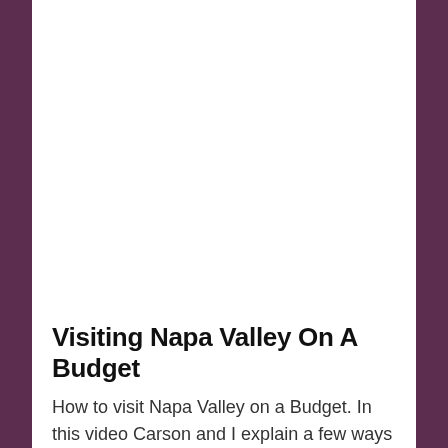[Figure (photo): Large image area (white/blank) taking up the upper portion of the page, representing a video thumbnail or photo of Napa Valley]
Visiting Napa Valley On A Budget
How to visit Napa Valley on a Budget. In this video Carson and I explain a few ways to enjoy Napa on the cheap. Tip and advice about how to visit Napa